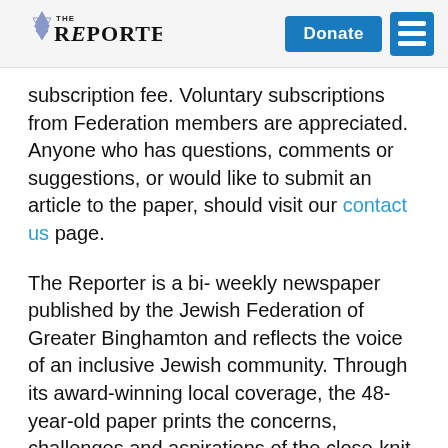The Reporter [logo] | Donate | Menu
subscription fee. Voluntary subscriptions from Federation members are appreciated. Anyone who has questions, comments or suggestions, or would like to submit an article to the paper, should visit our contact us page.
The Reporter is a bi- weekly newspaper published by the Jewish Federation of Greater Binghamton and reflects the voice of an inclusive Jewish community. Through its award-winning local coverage, the 48-year-old paper prints the concerns, challenges and aspirations of the close-knit community; members of the community are encouraged to use The Reporter